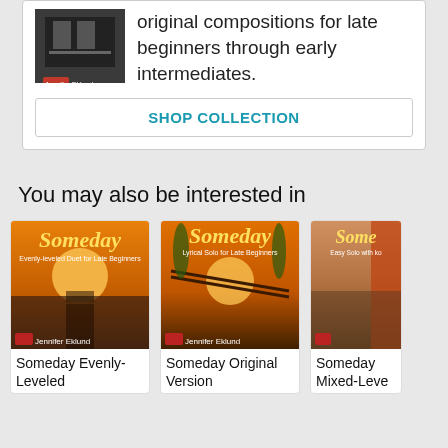original compositions for late beginners through early intermediates.
SHOP COLLECTION
You may also be interested in
[Figure (photo): Book cover - Someday Evenly-Leveled arrangement by Jennifer Eklund, sunset over a dock]
Someday Evenly-Leveled
[Figure (photo): Book cover - Someday Original Version by Jennifer Eklund, hammock at sunset]
Someday Original Version
[Figure (photo): Book cover - Someday Mixed-Level arrangement, partially visible]
Someday Mixed-Leve